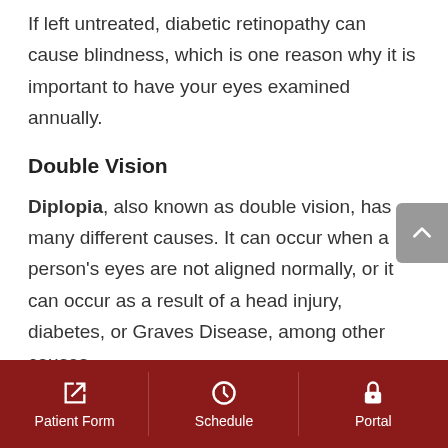If left untreated, diabetic retinopathy can cause blindness, which is one reason why it is important to have your eyes examined annually.
Double Vision
Diplopia, also known as double vision, has many different causes. It can occur when a person's eyes are not aligned normally, or it can occur as a result of a head injury, diabetes, or Graves Disease, among other causes.
Patient Form | Schedule | Portal